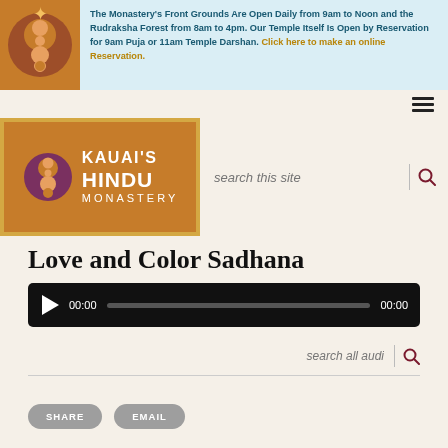The Monastery's Front Grounds Are Open Daily from 9am to Noon and the Rudraksha Forest from 8am to 4pm. Our Temple Itself Is Open by Reservation for 9am Puja or 11am Temple Darshan. Click here to make an online Reservation.
[Figure (logo): Kauai's Hindu Monastery logo with orange/brown background, circular emblem with yin-yang style spheres, and white text reading KAUAI'S HINDU MONASTERY]
Love and Color Sadhana
[Figure (screenshot): Audio player with play button, 00:00 timestamp, progress bar, and 00:00 end time on black background]
search all audi
SHARE
EMAIL